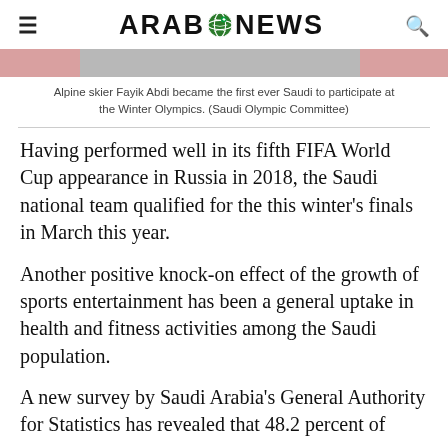ARAB NEWS
[Figure (photo): Partial image strip showing alpine skier photo]
Alpine skier Fayik Abdi became the first ever Saudi to participate at the Winter Olympics. (Saudi Olympic Committee)
Having performed well in its fifth FIFA World Cup appearance in Russia in 2018, the Saudi national team qualified for the this winter's finals in March this year.
Another positive knock-on effect of the growth of sports entertainment has been a general uptake in health and fitness activities among the Saudi population.
A new survey by Saudi Arabia's General Authority for Statistics has revealed that 48.2 percent of